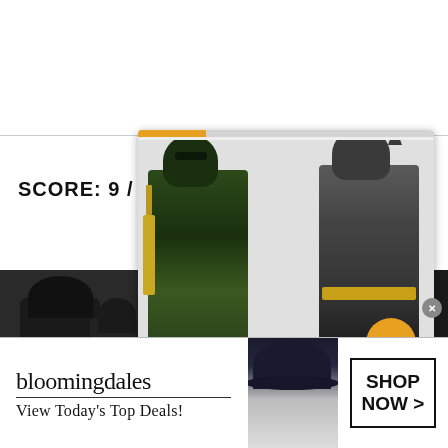SCORE: 9 / 10
[Figure (screenshot): Popup card showing two DC superhero action figures (Green Arrow and Batman) from McFarlane Toys Injustice 2 line, with orange progress bar at top, navigation arrow button, and article title below]
McFarlane Toys announces7-inch Injustice 2Page Punchers
[Figure (screenshot): Bloomingdale's advertisement banner with logo, 'View Today's Top Deals!' tagline, model photo, and SHOP NOW button]